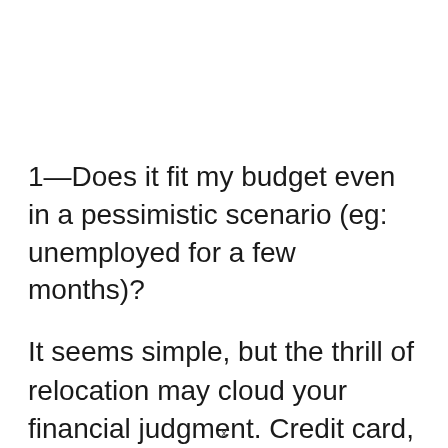1—Does it fit my budget even in a pessimistic scenario (eg: unemployed for a few months)?
It seems simple, but the thrill of relocation may cloud your financial judgment. Credit card, mortgage, and student loan payments should not exceed 36% of your annual income.